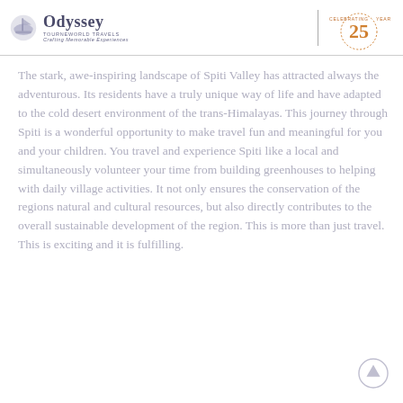Odyssey Tournevorld Travels — Crafting Memorable Experiences | Celebrating 25 Years
The stark, awe-inspiring landscape of Spiti Valley has attracted always the adventurous. Its residents have a truly unique way of life and have adapted to the cold desert environment of the trans-Himalayas. This journey through Spiti is a wonderful opportunity to make travel fun and meaningful for you and your children. You travel and experience Spiti like a local and simultaneously volunteer your time from building greenhouses to helping with daily village activities. It not only ensures the conservation of the regions natural and cultural resources, but also directly contributes to the overall sustainable development of the region. This is more than just travel. This is exciting and it is fulfilling.